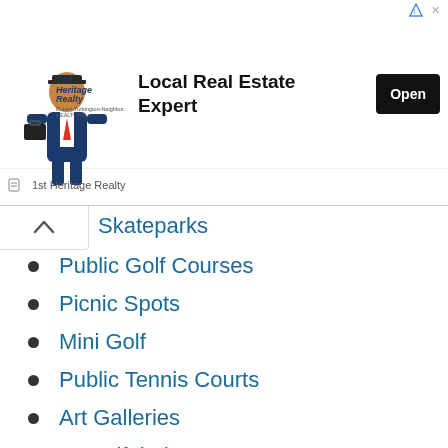[Figure (other): Advertisement banner for 1st Heritage Realty showing logo with realtor figure, headline 'Local Real Estate Expert', and Open button]
Skateparks
Public Golf Courses
Picnic Spots
Mini Golf
Public Tennis Courts
Art Galleries
Beautiful Theaters
Science Centers
Historical Sites
Festivals
Food Truck Festivals